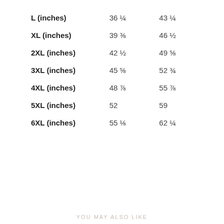| L (inches) | 36 ¼ | 43 ¼ |
| XL (inches) | 39 ⅜ | 46 ½ |
| 2XL (inches) | 42 ½ | 49 ⅝ |
| 3XL (inches) | 45 ⅝ | 52 ¾ |
| 4XL (inches) | 48 ⅞ | 55 ⅞ |
| 5XL (inches) | 52 | 59 |
| 6XL (inches) | 55 ⅛ | 62 ¼ |
YOU MAY ALSO LIKE